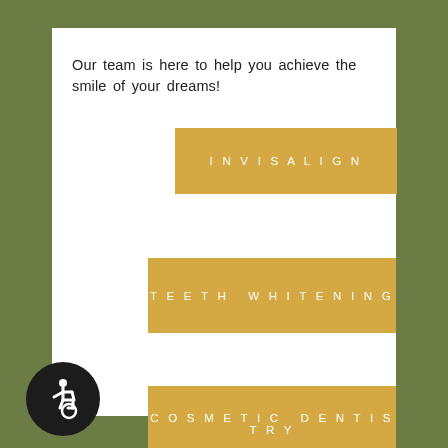Our team is here to help you achieve the smile of your dreams!
INVISALIGN
TEETH WHITENING
COSMETIC DENTISTRY
[Figure (logo): Wheelchair accessibility icon — white wheelchair symbol on black circle]